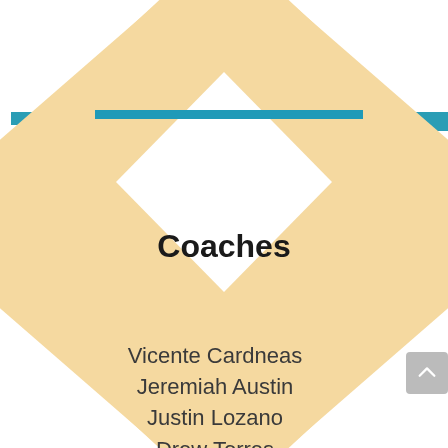[Figure (illustration): Baseball diamond shape in light tan/peach color with a teal/blue horizontal line across the top portion. The diamond serves as a decorative background element.]
Coaches
Vicente Cardneas
Jeremiah Austin
Justin Lozano
Drew Torres
Andrew Irish
Anthony Escamilla
Doug Adams